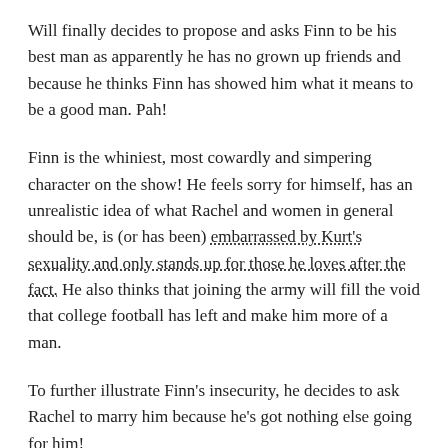Will finally decides to propose and asks Finn to be his best man as apparently he has no grown up friends and because he thinks Finn has showed him what it means to be a good man. Pah!
Finn is the whiniest, most cowardly and simpering character on the show! He feels sorry for himself, has an unrealistic idea of what Rachel and women in general should be, is (or has been) embarrassed by Kurt's sexuality and only stands up for those he loves after the fact. He also thinks that joining the army will fill the void that college football has left and make him more of a man.
To further illustrate Finn's insecurity, he decides to ask Rachel to marry him because he's got nothing else going for him!
I was also a bit disturbed by Sam's inclusion in the